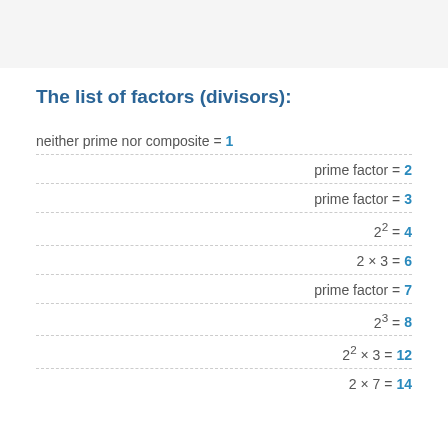The list of factors (divisors):
neither prime nor composite = 1
prime factor = 2
prime factor = 3
2^2 = 4
2 × 3 = 6
prime factor = 7
2^3 = 8
2^2 × 3 = 12
2 × 7 = 14